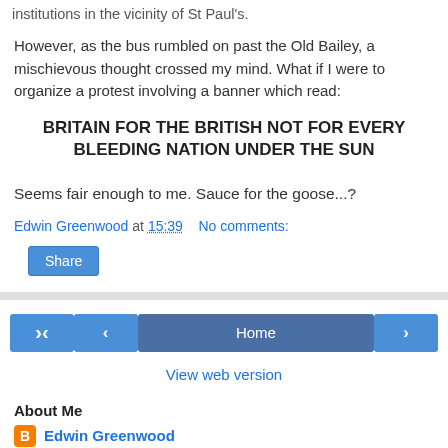institutions in the vicinity of St Paul's.
However, as the bus rumbled on past the Old Bailey, a mischievous thought crossed my mind. What if I were to organize a protest involving a banner which read:
BRITAIN FOR THE BRITISH NOT FOR EVERY BLEEDING NATION UNDER THE SUN
Seems fair enough to me. Sauce for the goose...?
Edwin Greenwood at 15:39   No comments:
Share
< Home >
View web version
About Me
Edwin Greenwood